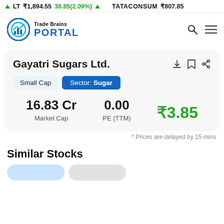LT ₹1,894.55 38.85(2.09%) ▲   TATACONSUM ₹807.85
[Figure (logo): Trade Brains Portal logo with circular chart icon and navigation icons]
Gayatri Sugars Ltd.
Small Cap   Sector: Sugar
| Market Cap | PE (TTM) | Price |
| --- | --- | --- |
| 16.83 Cr | 0.00 | ₹3.85 |
* Prices are delayed by 15 mins
Similar Stocks